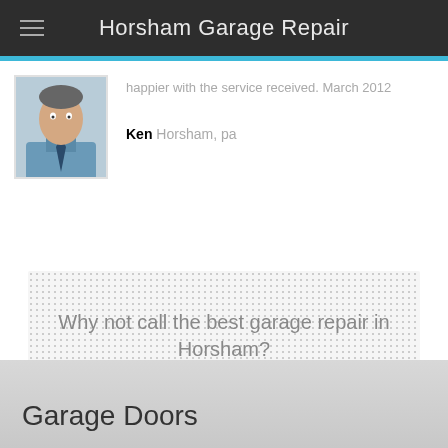Horsham Garage Repair
happier with the service received. March 2012
Ken Horsham, pa
Why not call the best garage repair in Horsham?
Contact Us!
Garage Doors